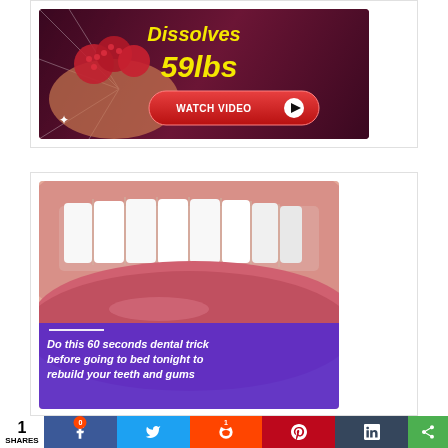[Figure (photo): Advertisement showing raspberries on a hand with text 'Dissolves 59lbs' in yellow on dark background with a red Watch Video button]
[Figure (photo): Advertisement showing close-up of woman's white teeth and pink lips with purple overlay and italic white text: 'Do this 60 seconds dental trick before going to bed tonight to rebuild your teeth and gums']
1 SHARES | Facebook | Twitter | Reddit | Pinterest | Tumblr